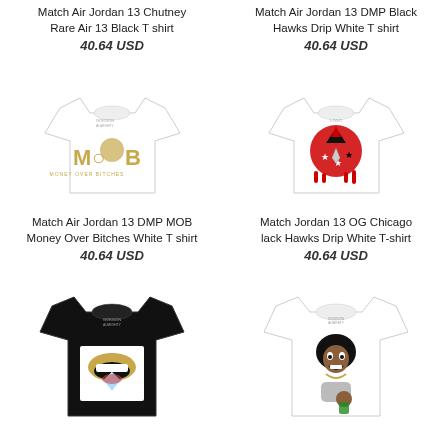Match Air Jordan 13 Chutney Rare Air 13 Black T shirt
40.64 USD
[Figure (photo): White crop t-shirt with MOB (Money Over Bitches) gold graphic and Versace-style medallion]
Match Air Jordan 13 DMP MOB Money Over Bitches White T shirt
40.64 USD
[Figure (photo): Black t-shirt with gold lips and diamond graphic]
Match Air Jordan 13 DMP Black Hawks Drip White T shirt
40.64 USD
[Figure (photo): White crop t-shirt with Chicago Blackhawks drip graphic in red black and white]
Match Jordan 13 OG Chicago lack Hawks Drip White T-shirt
40.64 USD
[Figure (photo): White t-shirt with cartoon character graphic]